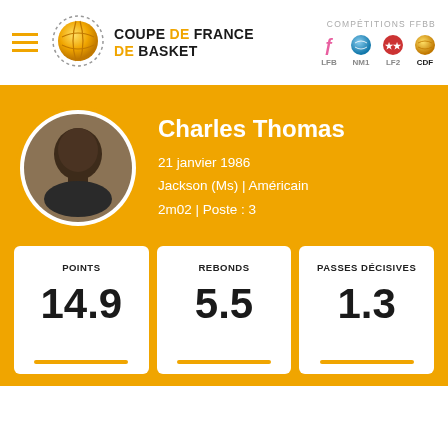[Figure (logo): Coupe de France de Basket logo with basketball icon]
[Figure (infographic): COMPÉTITIONS FFBB navigation icons: LFB, NM1, LF2, CDF]
[Figure (photo): Portrait photo of basketball player Charles Thomas in circular frame]
Charles Thomas
21 janvier 1986
Jackson (Ms) | Américain
2m02 | Poste : 3
| POINTS | REBONDS | PASSES DÉCISIVES |
| --- | --- | --- |
| 14.9 | 5.5 | 1.3 |